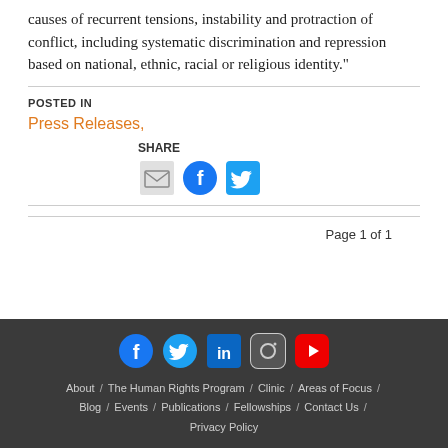causes of recurrent tensions, instability and protraction of conflict, including systematic discrimination and repression based on national, ethnic, racial or religious identity."
POSTED IN
Press Releases,
[Figure (infographic): SHARE section with email, Facebook, and Twitter icons]
Page 1 of 1
About / The Human Rights Program / Clinic / Areas of Focus / Blog / Events / Publications / Fellowships / Contact Us / Privacy Policy